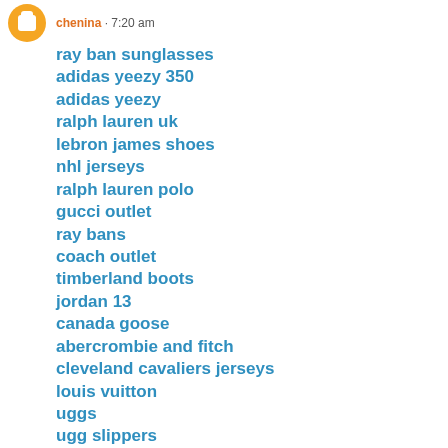chenina · 7:20 am
ray ban sunglasses
adidas yeezy 350
adidas yeezy
ralph lauren uk
lebron james shoes
nhl jerseys
ralph lauren polo
gucci outlet
ray bans
coach outlet
timberland boots
jordan 13
canada goose
abercrombie and fitch
cleveland cavaliers jerseys
louis vuitton
uggs
ugg slippers
coach outlet store online
abercrombie outlet
coach factory outlet
fitflons